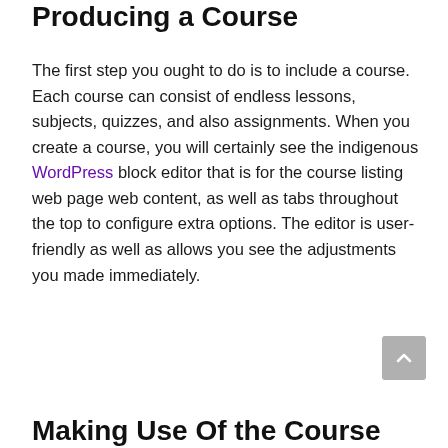Producing a Course
The first step you ought to do is to include a course. Each course can consist of endless lessons, subjects, quizzes, and also assignments. When you create a course, you will certainly see the indigenous WordPress block editor that is for the course listing web page web content, as well as tabs throughout the top to configure extra options. The editor is user-friendly as well as allows you see the adjustments you made immediately.
Making Use Of the Course